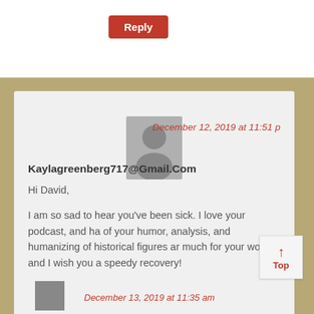Reply
December 12, 2019 at 11:51 p
Kaylagreenberg717@Gmail.Com
Hi David,

I am so sad to hear you've been sick. I love your podcast, and ha of your humor, analysis, and humanizing of historical figures ar much for your work, and I wish you a speedy recovery!

Best,
Kayla
Reply
Top
December 13, 2019 at 11:35 am